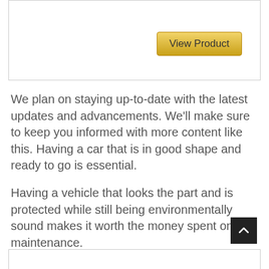[Figure (screenshot): Top bordered box with a gold 'View Product' button in the upper right area]
We plan on staying up-to-date with the latest updates and advancements. We'll make sure to keep you informed with more content like this. Having a car that is in good shape and ready to go is essential.
Having a vehicle that looks the part and is protected while still being environmentally sound makes it worth the money spent on maintenance.
[Figure (other): Back-to-top button: dark square with upward chevron arrow]
[Figure (other): Bottom bordered box (partial, cropped at page edge)]